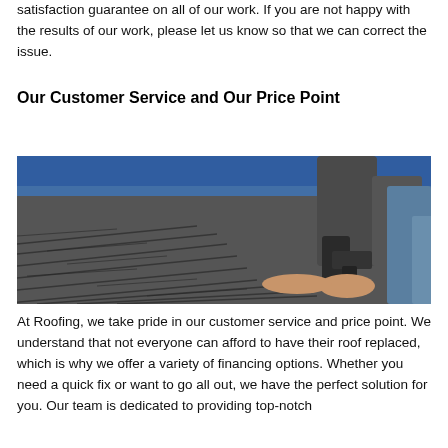satisfaction guarantee on all of our work. If you are not happy with the results of our work, please let us know so that we can correct the issue.
Our Customer Service and Our Price Point
[Figure (photo): A worker laying roof shingles using a nail gun, with a blue tarp visible in the background.]
At Roofing, we take pride in our customer service and price point. We understand that not everyone can afford to have their roof replaced, which is why we offer a variety of financing options. Whether you need a quick fix or want to go all out, we have the perfect solution for you. Our team is dedicated to providing top-notch